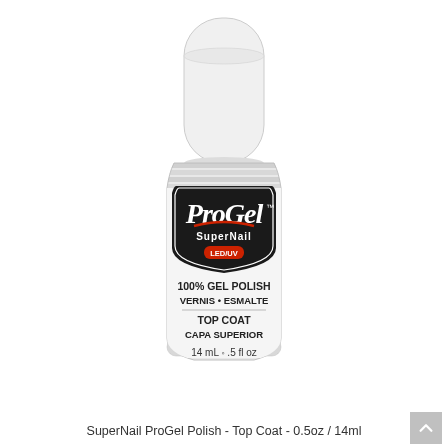[Figure (photo): Product photo of SuperNail ProGel Polish Top Coat bottle, 14mL / 0.5 fl oz. White cylindrical cap on top, glass bottle with silver/white label featuring black shield with ProGel logo in white italic script with red accent, SuperNail text, LED/UV badge in red, text reading 100% GEL POLISH VERNIS • ESMALTE, TOP COAT CAPA SUPERIOR, 14 mL e .5 fl oz]
SuperNail ProGel Polish - Top Coat - 0.5oz / 14ml